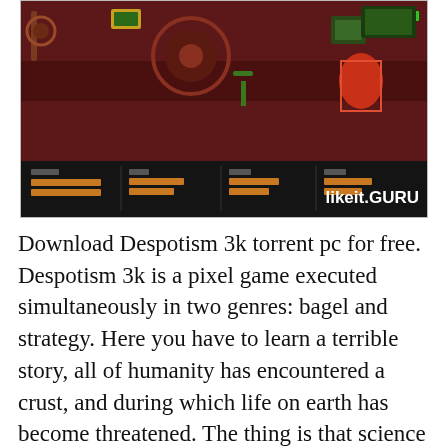[Figure (screenshot): Screenshot of the game Despotism 3k showing a dark red pixel-art game scene with various mechanical elements and a HUD bar at the bottom displaying orange progress bars and stats. A watermark 'likeit.GURU' appears in the bottom-right corner.]
Download Despotism 3k torrent pc for free. Despotism 3k is a pixel game executed simultaneously in two genres: bagel and strategy. Here you have to learn a terrible story, all of humanity has encountered a crust, and during which life on earth has become threatened. The thing is that science has reached immeasurable heights, which led to the rebellion of artificial intelligence against humanity. From now on, robots enslaved the world and brought only suffering to it. But not everything is as bad as it might seem to